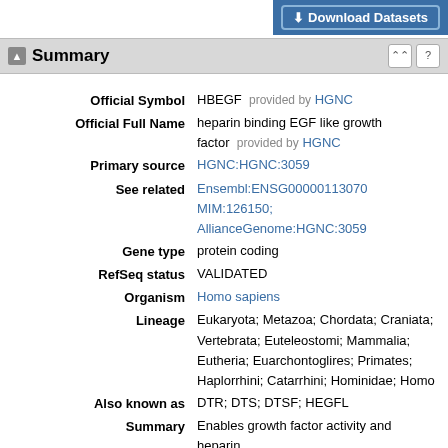[Figure (screenshot): Download Datasets button (blue button top right)]
Summary
Official Symbol: HBEGF provided by HGNC
Official Full Name: heparin binding EGF like growth factor provided by HGNC
Primary source: HGNC:HGNC:3059
See related: Ensembl:ENSG00000113070 MIM:126150; AllianceGenome:HGNC:3059
Gene type: protein coding
RefSeq status: VALIDATED
Organism: Homo sapiens
Lineage: Eukaryota; Metazoa; Chordata; Craniata; Vertebrata; Euteleostomi; Mammalia; Eutheria; Euarchontoglires; Primates; Haplorrhini; Catarrhini; Hominidae; Homo
Also known as: DTR; DTS; DTSF; HEGFL
Summary: Enables growth factor activity and heparin binding activity. Involved in several processes, including epidermal growth factor receptor signaling pathway; positive